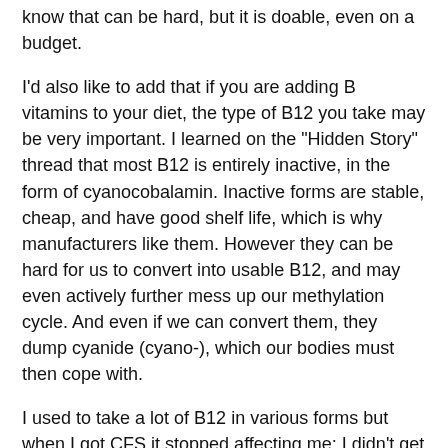know that can be hard, but it is doable, even on a budget.
I'd also like to add that if you are adding B vitamins to your diet, the type of B12 you take may be very important. I learned on the "Hidden Story" thread that most B12 is entirely inactive, in the form of cyanocobalamin. Inactive forms are stable, cheap, and have good shelf life, which is why manufacturers like them. However they can be hard for us to convert into usable B12, and may even actively further mess up our methylation cycle. And even if we can convert them, they dump cyanide (cyano-), which our bodies must then cope with.
I used to take a lot of B12 in various forms but when I got CFS it stopped affecting me; I didn't get the energy boost I was accustomed to. It was cyanocobalamin. Now I am on a protocol involving the two active forms of B12 (methylcobalamin and adenosylcobalamin) I really notice what they do.
If you want to read more about the methylation cycle thing, Richvank's post on the mitochondrial thread